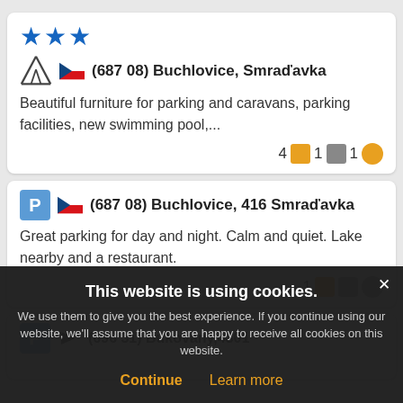[Figure (screenshot): Listing card with 3 blue stars, tent icon, Czech flag, location (687 08) Buchlovice, Smradavka, description about furniture for parking and caravans, swimming pool. Stats: 4 orange square, 1 grey speech bubble, 1 orange smiley.]
[Figure (screenshot): Listing card with parking P icon, Czech flag, location (687 08) Buchlovice, 416 Smradavka, description about parking for day and night, calm and quiet, lake nearby and restaurant. Stats: 1 orange square, grey speech bubble, grey smiley.]
[Figure (screenshot): Partial listing card with parking P icon, arrow icon, location (696 31) Bukovany 4301 partially visible.]
This website is using cookies. We use them to give you the best experience. If you continue using our website, we'll assume that you are happy to receive all cookies on this website.
Continue   Learn more